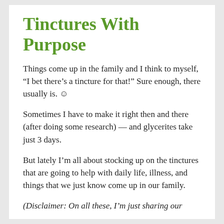Tinctures With Purpose
Things come up in the family and I think to myself, “I bet there’s a tincture for that!” Sure enough, there usually is. ☺
Sometimes I have to make it right then and there (after doing some research) — and glycerites take just 3 days.
But lately I’m all about stocking up on the tinctures that are going to help with daily life, illness, and things that we just know come up in our family.
(Disclaimer: On all these, I’m just sharing our